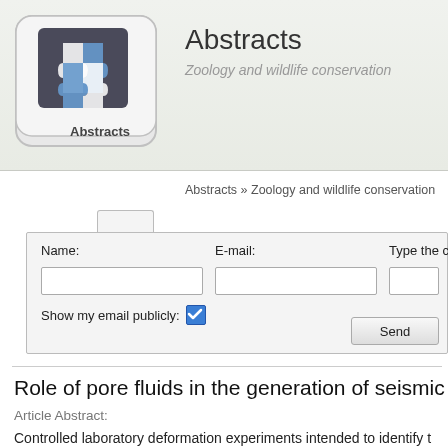Abstracts — Zoology and wildlife conservation
Abstracts » Zoology and wildlife conservation
[Figure (screenshot): Web form with fields for Name, E-mail, Type the code shown, a checked checkbox for Show my email publicly, and a Send button]
Role of pore fluids in the generation of seismic precurs
Article Abstract:
Controlled laboratory deformation experiments intended to identify earthquakes found that shear fracture in dry rock is marked by a loss